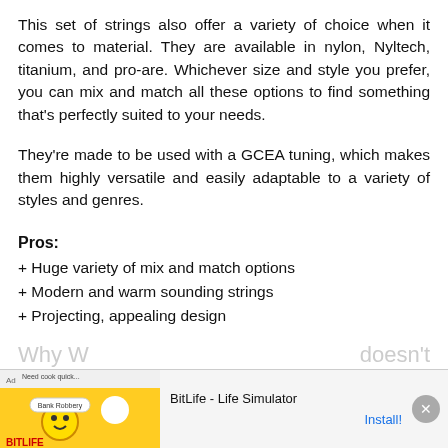This set of strings also offer a variety of choice when it comes to material. They are available in nylon, Nyltech, titanium, and pro-are. Whichever size and style you prefer, you can mix and match all these options to find something that's perfectly suited to your needs.
They're made to be used with a GCEA tuning, which makes them highly versatile and easily adaptable to a variety of styles and genres.
Pros:
+ Huge variety of mix and match options
+ Modern and warm sounding strings
+ Projecting, appealing design
[Figure (screenshot): Advertisement banner for BitLife - Life Simulator app with install button and close button]